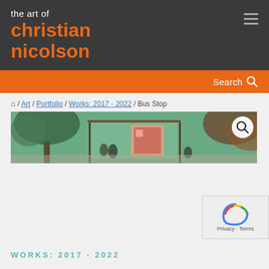the art of christian nicolson
Search
/ Art / Portfolio / Works: 2017 - 2022 / Bus Stop
[Figure (photo): Artwork photo of a bus stop scene with trees and framed paintings visible, wide panoramic crop]
WORKS: 2017 - 2022